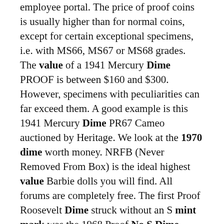employee portal. The price of proof coins is usually higher than for normal coins, except for certain exceptional specimens, i.e. with MS66, MS67 or MS68 grades. The value of a 1941 Mercury Dime PROOF is between $160 and $300. However, specimens with peculiarities can far exceed them. A good example is this 1941 Mercury Dime PR67 Cameo auctioned by Heritage. We look at the 1970 dime worth money. NRFB (Never Removed From Box) is the ideal highest value Barbie dolls you will find. All forums are completely free. The first Proof Roosevelt Dime struck without an S mint mark was the 1968 Proof No S Dime. Even low grades are worth $100 or more. The presence of a mint mark can, and often does, change the value of a coin considerably. This is because it can affect the rarity of the coin. For example, in the case of 1894 dimes,